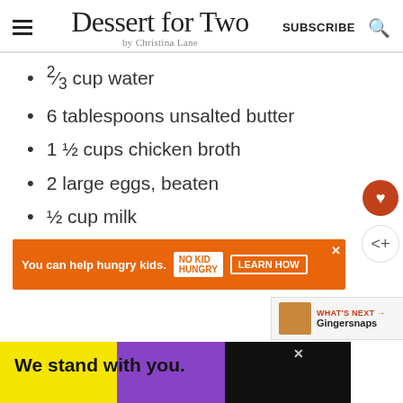Dessert for Two by Christina Lane | SUBSCRIBE
⅔ cup water
6 tablespoons unsalted butter
1 ½ cups chicken broth
2 large eggs, beaten
½ cup milk
[Figure (other): Orange advertisement banner: 'You can help hungry kids. NO KID HUNGRY. LEARN HOW' with close button]
[Figure (other): Bottom advertisement: 'We stand with you.' on yellow, purple, and black background]